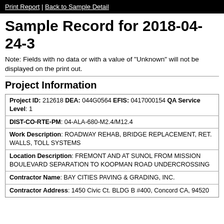Print Report | Back to Sample Detail
Sample Record for 2018-04-24-3
Note: Fields with no data or with a value of "Unknown" will not be displayed on the print out.
Project Information
| Project ID: 212618 DEA: 044G0564 EFIS: 0417000154 QA Service Level: 1 |
| DIST-CO-RTE-PM: 04-ALA-680-M2.4/M12.4 |
| Work Description: ROADWAY REHAB, BRIDGE REPLACEMENT, RET. WALLS, TOLL SYSTEMS |
| Location Description: FREMONT AND AT SUNOL FROM MISSION BOULEVARD SEPARATION TO KOOPMAN ROAD UNDERCROSSING |
| Contractor Name: BAY CITIES PAVING & GRADING, INC. |
| Contractor Address: 1450 Civic Ct. BLDG B #400, Concord CA, 94520 |